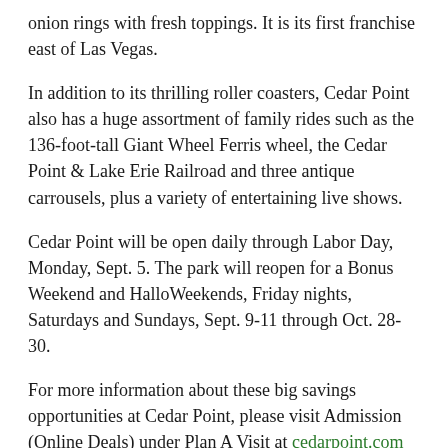onion rings with fresh toppings. It is its first franchise east of Las Vegas.
In addition to its thrilling roller coasters, Cedar Point also has a huge assortment of family rides such as the 136-foot-tall Giant Wheel Ferris wheel, the Cedar Point & Lake Erie Railroad and three antique carrousels, plus a variety of entertaining live shows.
Cedar Point will be open daily through Labor Day, Monday, Sept. 5. The park will reopen for a Bonus Weekend and HalloWeekends, Friday nights, Saturdays and Sundays, Sept. 9-11 through Oct. 28-30.
For more information about these big savings opportunities at Cedar Point, please visit Admission (Online Deals) under Plan A Visit at cedarpoint.com or call the park’s General Information Line at 419.627.2350.